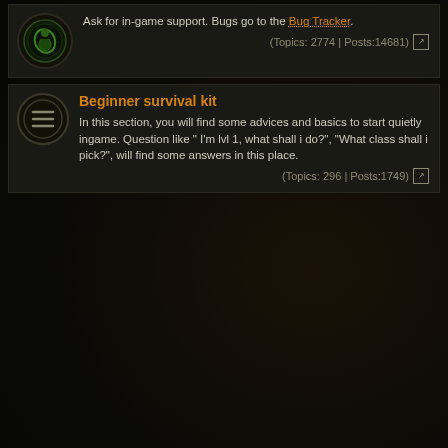Ask for in-game support. Bugs go to the Bug Tracker. (Topics: 2774 | Posts:14681)
Beginner survival kit
In this section, you will find some advices and basics to start quietly ingame. Question like " I'm lvl 1, what shall i do?", "What class shall i pick?", will find some answers in this place. (Topics: 296 | Posts:1749)